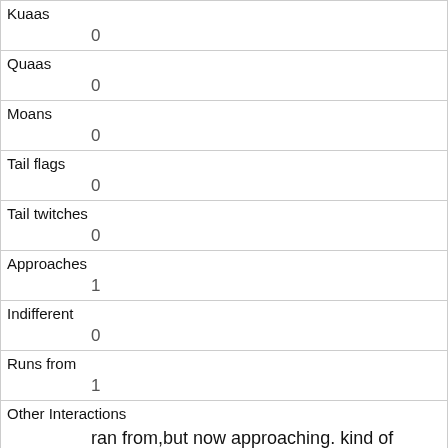| Kuaas | 0 |
| Quaas | 0 |
| Moans | 0 |
| Tail flags | 0 |
| Tail twitches | 0 |
| Approaches | 1 |
| Indifferent | 0 |
| Runs from | 1 |
| Other Interactions | ran from,but now approaching. kind of weirding me out. |
| Lat/Long | POINT (-73.9648090698176 40.7903882097837) |